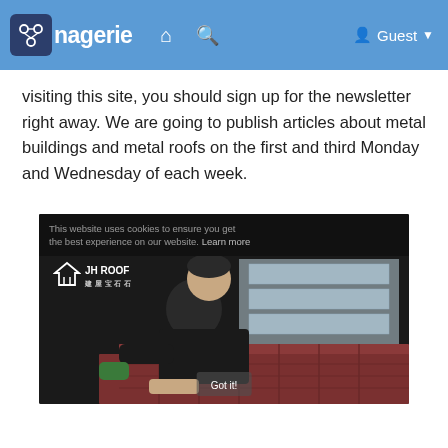ooEnagerie  [home icon] [search icon]  Guest
visiting this site, you should sign up for the newsletter right away. We are going to publish articles about metal buildings and metal roofs on the first and third Monday and Wednesday of each week.
[Figure (photo): A person wearing a black shirt and green gloves installing or working on red/brown roofing tiles. A JH ROOF logo is visible in the upper left of the image. The image has a dark top bar with partially visible cookie consent text.]